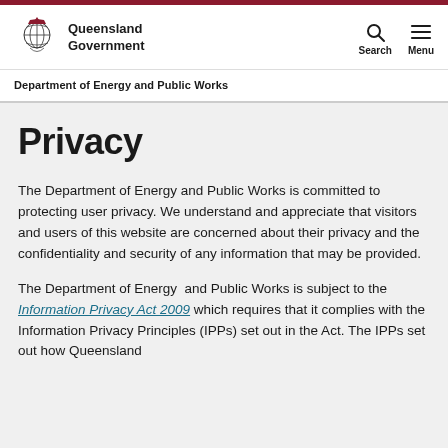Queensland Government — Department of Energy and Public Works
Privacy
The Department of Energy and Public Works is committed to protecting user privacy. We understand and appreciate that visitors and users of this website are concerned about their privacy and the confidentiality and security of any information that may be provided.
The Department of Energy and Public Works is subject to the Information Privacy Act 2009 which requires that it complies with the Information Privacy Principles (IPPs) set out in the Act. The IPPs set out how Queensland